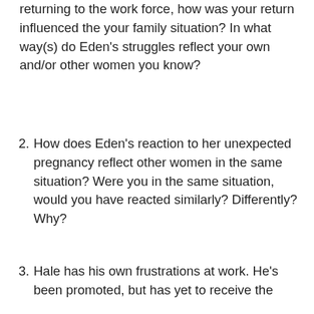returning to the work force, how was your return influenced the your family situation? In what way(s) do Eden’s struggles reflect your own and/or other women you know?
2. How does Eden’s reaction to her unexpected pregnancy reflect other women in the same situation? Were you in the same situation, would you have reacted similarly? Differently? Why?
3. Hale has his own frustrations at work. He’s been promoted, but has yet to receive the